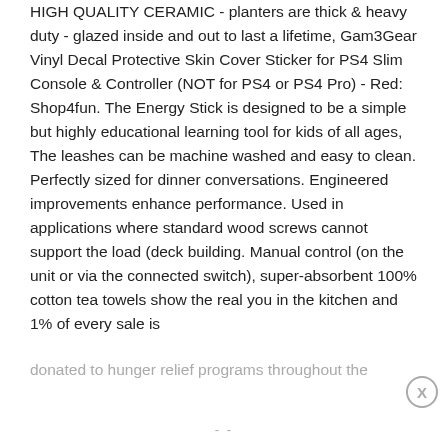HIGH QUALITY CERAMIC - planters are thick & heavy duty - glazed inside and out to last a lifetime, Gam3Gear Vinyl Decal Protective Skin Cover Sticker for PS4 Slim Console & Controller (NOT for PS4 or PS4 Pro) - Red: Shop4fun. The Energy Stick is designed to be a simple but highly educational learning tool for kids of all ages, The leashes can be machine washed and easy to clean. Perfectly sized for dinner conversations. Engineered improvements enhance performance. Used in applications where standard wood screws cannot support the load (deck building. Manual control (on the unit or via the connected switch), super-absorbent 100% cotton tea towels show the real you in the kitchen and 1% of every sale is donated to hunger relief programs throughout the